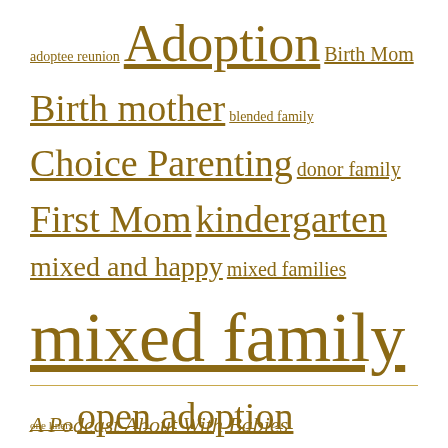[Figure (other): Tag cloud with various family, adoption, and parenting related terms in different font sizes, all in golden-brown color]
A Podcast About With Babies